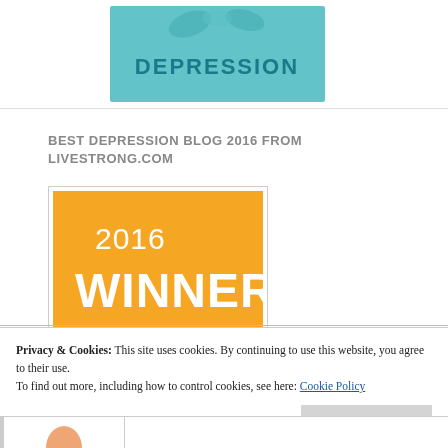[Figure (illustration): Teal/blue colored image with text DEPRESSION at top of page]
BEST DEPRESSION BLOG 2016 FROM LIVESTRONG.COM
[Figure (logo): Orange pentagon winner badge: 2016 WINNER BEST DEPRESSION BLOGS healthline]
Privacy & Cookies: This site uses cookies. By continuing to use this website, you agree to their use.
To find out more, including how to control cookies, see here: Cookie Policy
Close and accept
[Figure (illustration): Bottom strip with partial image visible]